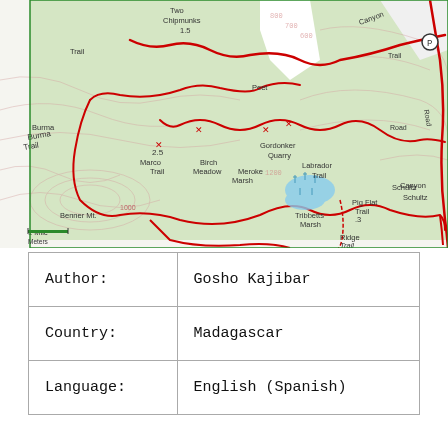[Figure (map): Topographic trail map showing green forested area with red trail routes, contour lines, labeled trails, marshes, quarry, and roads. Features include Burma Trail, Two Chipmunks, Peet, Gordonker Quarry, Labrador Trail, Marsh, Tribbett Marsh, Schultz trail, Pig Flat, Benner Mt., Power Line, Canyon, and various other trail features.]
| Author: | Gosho Kajibar |
| Country: | Madagascar |
| Language: | English (Spanish) |